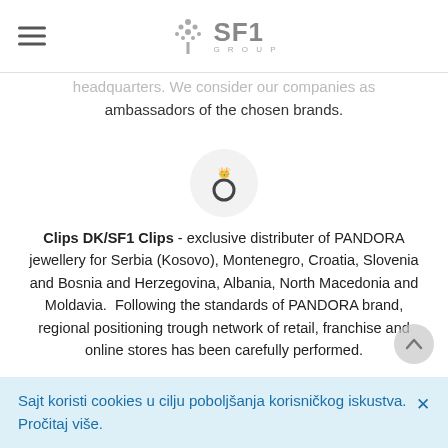SF1 Group logo header with hamburger menu
headquarters. We consider our companies as ambassadors of the chosen brands.
[Figure (logo): Pandora ring icon in a light grey circle]
Clips DK/SF1 Clips - exclusive distributer of PANDORA jewellery for Serbia (Kosovo), Montenegro, Croatia, Slovenia and Bosnia and Herzegovina, Albania, North Macedonia and Moldavia. Following the standards of PANDORA brand, regional positioning trough network of retail, franchise and online stores has been carefully performed.
Sajt koristi cookies u cilju poboljšanja korisničkog iskustva. Pročitaj više.